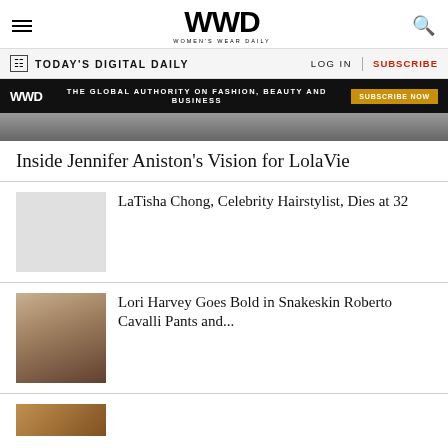WWD — Women's Wear Daily
TODAY'S DIGITAL DAILY
[Figure (infographic): WWD advertisement banner: THE GLOBAL AUTHORITY ON FASHION, BEAUTY AND BUSINESS — SUBSCRIBE NOW]
Inside Jennifer Aniston's Vision for LolaVie
LaTisha Chong, Celebrity Hairstylist, Dies at 32
Lori Harvey Goes Bold in Snakeskin Roberto Cavalli Pants and...